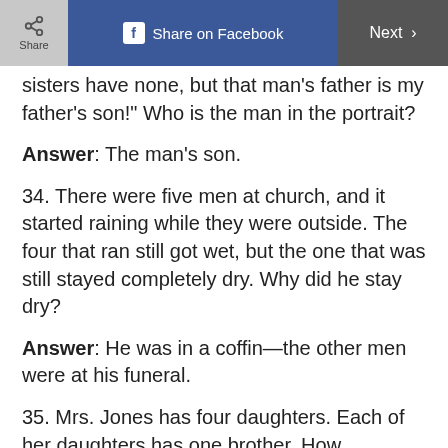Share | Share on Facebook | Next
sisters have none, but that man's father is my father's son!" Who is the man in the portrait?
Answer: The man's son.
34. There were five men at church, and it started raining while they were outside. The four that ran still got wet, but the one that was still stayed completely dry. Why did he stay dry?
Answer: He was in a coffin—the other men were at his funeral.
35. Mrs. Jones has four daughters. Each of her daughters has one brother. How